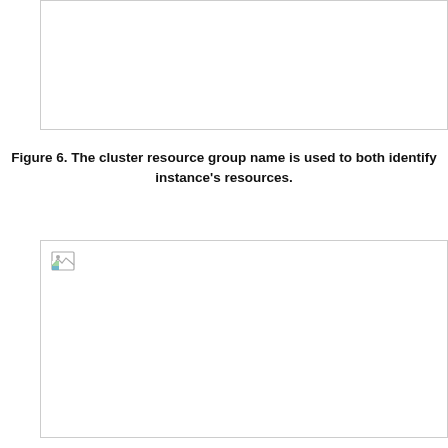[Figure (screenshot): Top figure box — partial image of a cluster resource group configuration screen (cropped, content not visible).]
Figure 6. The cluster resource group name is used to both identify instance's resources.
[Figure (screenshot): Bottom figure box — image placeholder with broken image icon showing cluster resource group name configuration.]